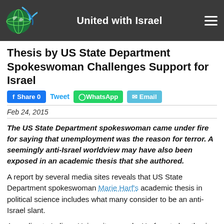United with Israel
Thesis by US State Department Spokeswoman Challenges Support for Israel
Share 0  Tweet  WhatsApp  Email
Feb 24, 2015
The US State Department spokeswoman came under fire for saying that unemployment was the reason for terror. A seemingly anti-Israel worldview may have also been exposed in an academic thesis that she authored.
A report by several media sites reveals that US State Department spokeswoman Marie Harf's academic thesis in political science includes what many consider to be an anti-Israel slant.
According to Indiana University records, Harf wrote her thesis on "how conservative Evangelical support for Israel